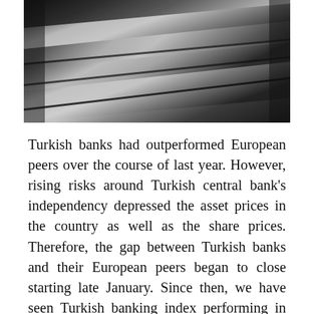[Figure (photo): Black and white close-up photograph of wooden logs or barrels stacked together, showing rough textures and cross-sections.]
Turkish banks had outperformed European peers over the course of last year. However, rising risks around Turkish central bank's independency depressed the asset prices in the country as well as the share prices. Therefore, the gap between Turkish banks and their European peers began to close starting late January. Since then, we have seen Turkish banking index performing in line with MSCI European Financial Index.